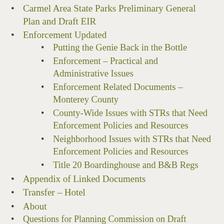Carmel Area State Parks Preliminary General Plan and Draft EIR
Enforcement Updated
Putting the Genie Back in the Bottle
Enforcement – Practical and Administrative Issues
Enforcement Related Documents – Monterey County
County-Wide Issues with STRs that Need Enforcement Policies and Resources
Neighborhood Issues with STRs that Need Enforcement Policies and Resources
Title 20 Boardinghouse and B&B Regs
Appendix of Linked Documents
Transfer – Hotel
About
Questions for Planning Commission on Draft